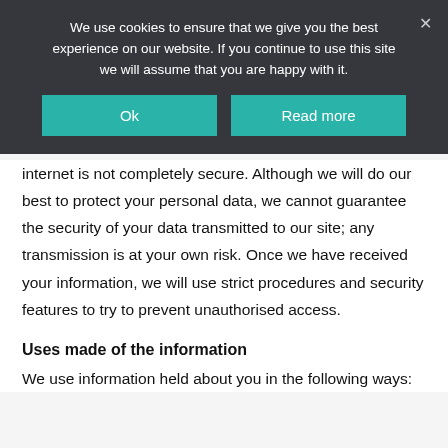We use cookies to ensure that we give you the best experience on our website. If you continue to use this site we will assume that you are happy with it.
Ok
Read more
internet is not completely secure. Although we will do our best to protect your personal data, we cannot guarantee the security of your data transmitted to our site; any transmission is at your own risk. Once we have received your information, we will use strict procedures and security features to try to prevent unauthorised access.
Uses made of the information
We use information held about you in the following ways: